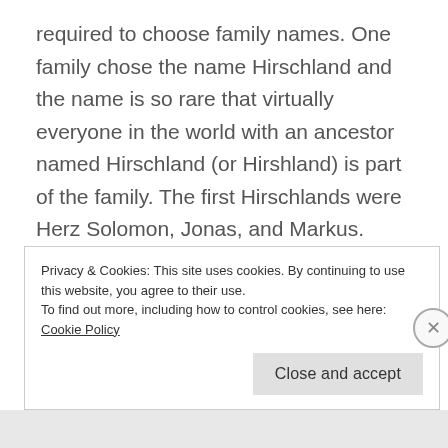required to choose family names. One family chose the name Hirschland and the name is so rare that virtually everyone in the world with an ancestor named Hirschland (or Hirshland) is part of the family. The first Hirschlands were Herz Solomon, Jonas, and Markus.
In September, 2010, we met some second cousins who we had not previously met, and this web site, and a greatly expanded family tree produced by
Privacy & Cookies: This site uses cookies. By continuing to use this website, you agree to their use.
To find out more, including how to control cookies, see here: Cookie Policy